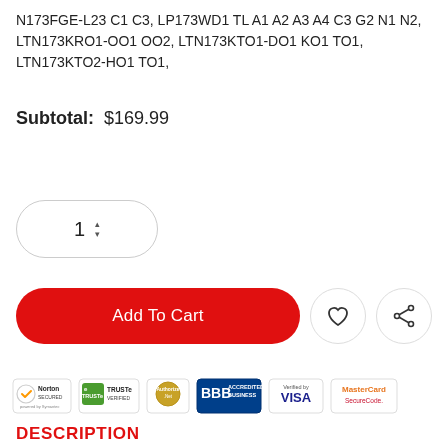N173FGE-L23 C1 C3, LP173WD1 TL A1 A2 A3 A4 C3 G2 N1 N2, LTN173KRO1-OO1 OO2, LTN173KTO1-DO1 KO1 TO1, LTN173KTO2-HO1 TO1,
Subtotal:  $169.99
[Figure (screenshot): Quantity selector showing '1' with up/down arrows in a rounded pill-shaped input box]
[Figure (screenshot): Add To Cart red pill button, heart/wishlist icon button, and share icon button]
[Figure (screenshot): Trust badges row: Norton Secured, TRUSTe Verified, Authorize.Net, BBB Accredited Business, Verified by Visa, MasterCard SecureCode]
DESCRIPTION